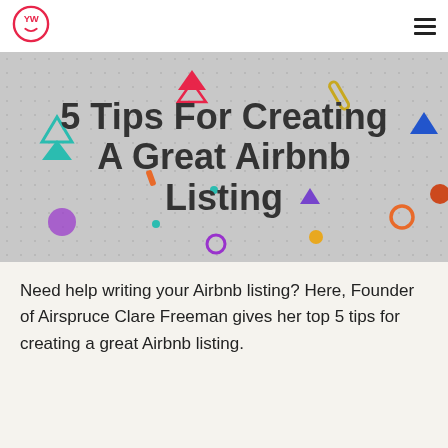[Figure (logo): YW logo — pink circle outline with letters YW and a small smile icon inside]
5 Tips For Creating A Great Airbnb Listing
Need help writing your Airbnb listing? Here, Founder of Airspruce Clare Freeman gives her top 5 tips for creating a great Airbnb listing.